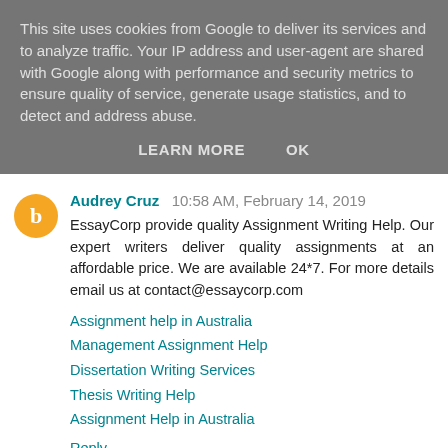This site uses cookies from Google to deliver its services and to analyze traffic. Your IP address and user-agent are shared with Google along with performance and security metrics to ensure quality of service, generate usage statistics, and to detect and address abuse.
LEARN MORE    OK
Audrey Cruz  10:58 AM, February 14, 2019
EssayCorp provide quality Assignment Writing Help. Our expert writers deliver quality assignments at an affordable price. We are available 24*7. For more details email us at contact@essaycorp.com
Assignment help in Australia
Management Assignment Help
Dissertation Writing Services
Thesis Writing Help
Assignment Help in Australia
Reply